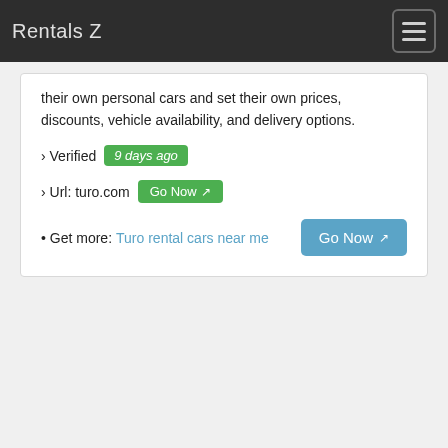Rentals Z
their own personal cars and set their own prices, discounts, vehicle availability, and delivery options.
› Verified  9 days ago
› Url: turo.com  Go Now
• Get more: Turo rental cars near me  Go Now